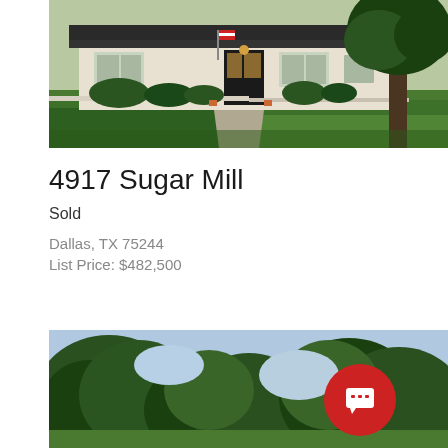[Figure (photo): Front exterior of a ranch-style house with green lawn, large tree on right, dark roof, light-colored walls, and American flag near entrance]
4917 Sugar Mill
Sold
Dallas, TX 75244
List Price: $482,500
[Figure (photo): Outdoor scene with trees against a light blue sky, partial view of a property]
[Figure (other): Red circular chat/messaging button with white speech bubble icon]